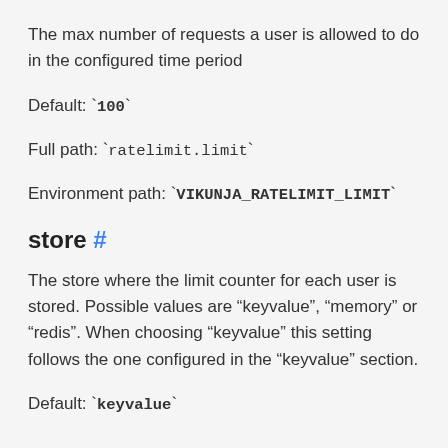The max number of requests a user is allowed to do in the configured time period
Default: `100`
Full path: `ratelimit.limit`
Environment path: `VIKUNJA_RATELIMIT_LIMIT`
store #
The store where the limit counter for each user is stored. Possible values are “keyvalue”, “memory” or “redis”. When choosing “keyvalue” this setting follows the one configured in the “keyvalue” section.
Default: `keyvalue`